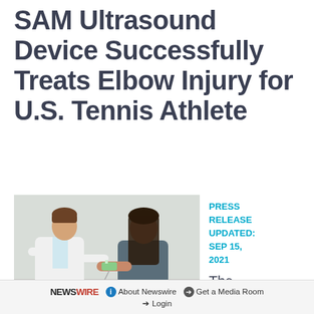SAM Ultrasound Device Successfully Treats Elbow Injury for U.S. Tennis Athlete
[Figure (photo): A doctor in a white coat applying the SAM ultrasound device to the arm of a female patient in a clinical setting]
PRESS RELEASE UPDATED: SEP 15, 2021
The
The SAM ultrasound device accelerates the body's natural healing process for soft-tissue injuries like tennis elbow
NEWSWIRE  ⓘ About Newswire  ➔ Get a Media Room  ➔ Login